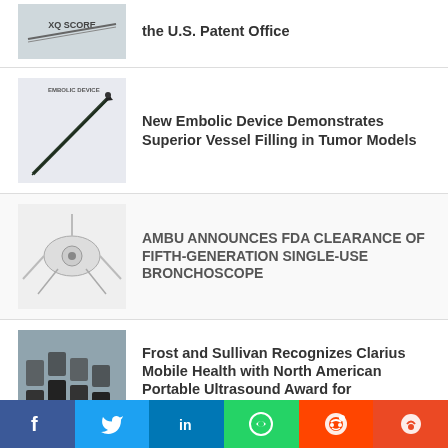[Figure (photo): Partial thumbnail of XQ SCORE branded medical device image]
the U.S. Patent Office
[Figure (photo): Photo of an embolic device - a thin needle/catheter labeled EMBOLIC DEVICE]
New Embolic Device Demonstrates Superior Vessel Filling in Tumor Models
[Figure (photo): Photo of Ambu fifth-generation single-use bronchoscope medical device]
AMBU ANNOUNCES FDA CLEARANCE OF FIFTH-GENERATION SINGLE-USE BRONCHOSCOPE
[Figure (photo): Photo of Clarius Mobile Health portable ultrasound device with probes]
Frost and Sullivan Recognizes Clarius Mobile Health with North American Portable Ultrasound Award for Excellence in Best
[Figure (photo): Partial thumbnail of another medical news item]
THE AWARD-WINNING ULTRASOUND TH...